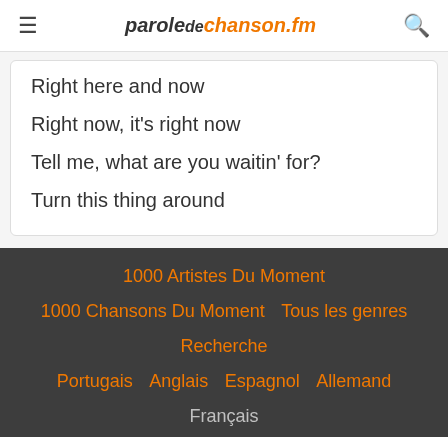paroledechanson.fm
Right here and now
Right now, it's right now
Tell me, what are you waitin' for?
Turn this thing around
1000 Artistes Du Moment
1000 Chansons Du Moment
Tous les genres
Recherche
Portugais
Anglais
Espagnol
Allemand
Français